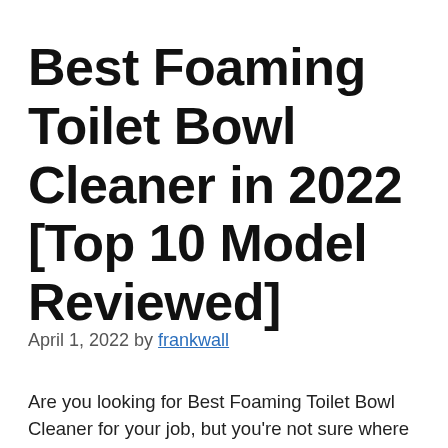Best Foaming Toilet Bowl Cleaner in 2022 [Top 10 Model Reviewed]
April 1, 2022 by frankwall
Are you looking for Best Foaming Toilet Bowl Cleaner for your job, but you’re not sure where to start. With the many